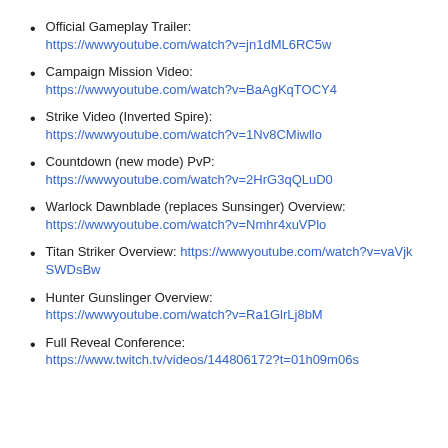Official Gameplay Trailer: https://wwwyoutube.com/watch?v=jn1dML6RC5w
Campaign Mission Video: https://wwwyoutube.com/watch?v=BaAgKqTOCY4
Strike Video (Inverted Spire): https://wwwyoutube.com/watch?v=1Nv8CMiwllo
Countdown (new mode) PvP: https://wwwyoutube.com/watch?v=2HrG3qQLuD0
Warlock Dawnblade (replaces Sunsinger) Overview: https://wwwyoutube.com/watch?v=Nmhr4xuVPlo
Titan Striker Overview: https://wwwyoutube.com/watch?v=vaVjkSWDsBw
Hunter Gunslinger Overview: https://wwwyoutube.com/watch?v=Ra1GlrLj8bM
Full Reveal Conference: https://www.twitch.tv/videos/144806172?t=01h09m06s